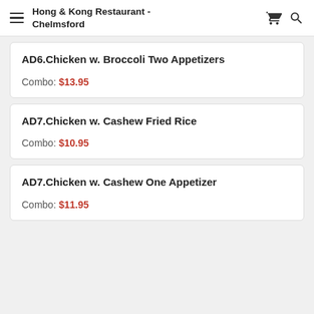Hong & Kong Restaurant - Chelmsford
AD6.Chicken w. Broccoli Two Appetizers
Combo: $13.95
AD7.Chicken w. Cashew Fried Rice
Combo: $10.95
AD7.Chicken w. Cashew One Appetizer
Combo: $11.95